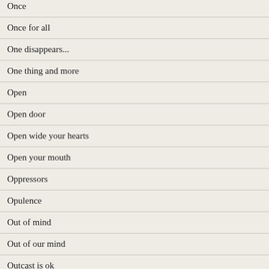Once
Once for all
One disappears...
One thing and more
Open
Open door
Open wide your hearts
Open your mouth
Oppressors
Opulence
Out of mind
Out of our mind
Outcast is ok